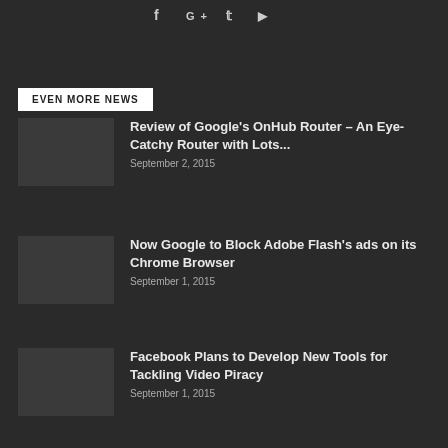f G+ t ▶
EVEN MORE NEWS
Review of Google's OnHub Router – An Eye-Catchy Router with Lots...
September 2, 2015
Now Google to Block Adobe Flash's ads on its Chrome Browser
September 1, 2015
Facebook Plans to Develop New Tools for Tackling Video Piracy
September 1, 2015